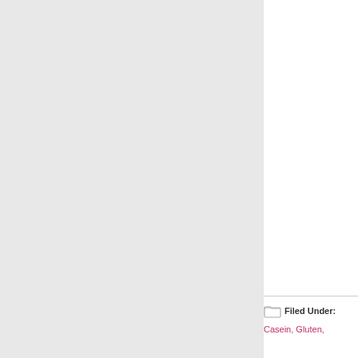[Figure (other): Large light grey rectangular panel occupying the left portion of the page]
Filed Under:
Casein, Gluten,